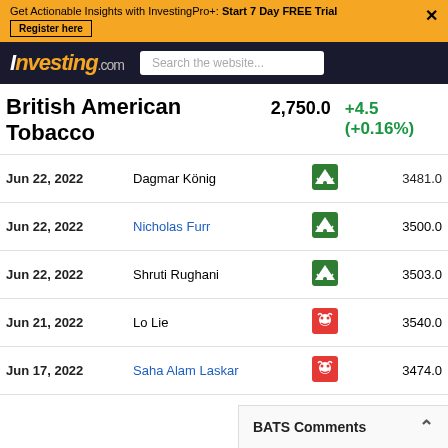Get Actionable Insights with InvestingPro+: Start 7 Day FREE Trial | Register here
[Figure (logo): Investing.com logo with search bar]
British American Tobacco  2,750.0  +4.5 (+0.16%)
| Date | Name | Signal | Price |
| --- | --- | --- | --- |
| Jun 22, 2022 | Dagmar König | bull | 3481.0 |
| Jun 22, 2022 | Nicholas Furr | bull | 3500.0 |
| Jun 22, 2022 | Shruti Rughani | bull | 3503.0 |
| Jun 21, 2022 | Lo Lie | bear | 3540.0 |
| Jun 17, 2022 | Saha Alam Laskar | bear | 3474.0 |
BATS Comments